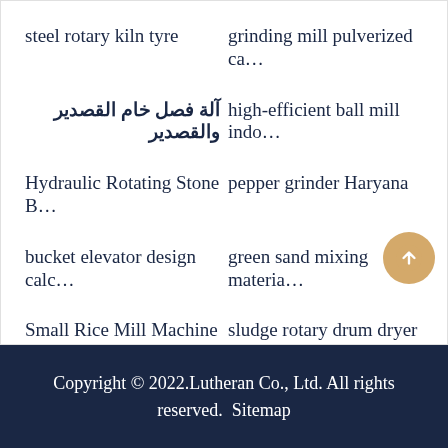steel rotary kiln tyre
grinding mill pulverized ca…
آلة فصل خام القصدير والقصدير
high-efficient ball mill indo…
Hydraulic Rotating Stone B…
pepper grinder Haryana
bucket elevator design calc…
green sand mixing materia…
Small Rice Mill Machine Co…
sludge rotary drum dryer
High Quality Industrial Soil…
pipe dryerswood briquette…
portable diesel stone crus…
Copyright © 2022.Lutheran Co., Ltd. All rights reserved.  Sitemap